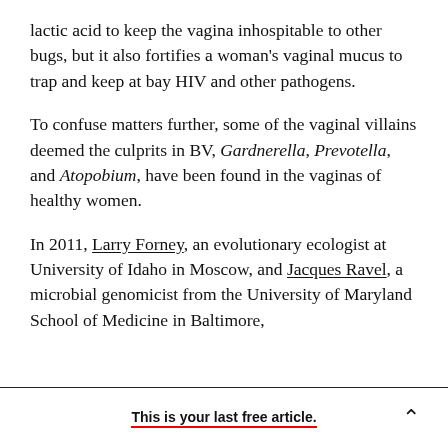lactic acid to keep the vagina inhospitable to other bugs, but it also fortifies a woman's vaginal mucus to trap and keep at bay HIV and other pathogens.
To confuse matters further, some of the vaginal villains deemed the culprits in BV, Gardnerella, Prevotella, and Atopobium, have been found in the vaginas of healthy women.
In 2011, Larry Forney, an evolutionary ecologist at University of Idaho in Moscow, and Jacques Ravel, a microbial genomicist from the University of Maryland School of Medicine in Baltimore,
This is your last free article.